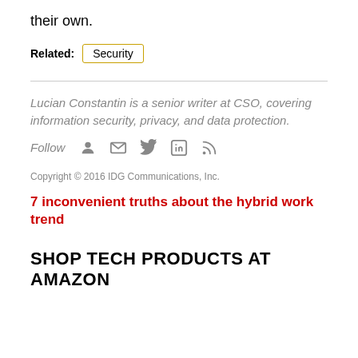their own.
Related: Security
Lucian Constantin is a senior writer at CSO, covering information security, privacy, and data protection.
Follow
Copyright © 2016 IDG Communications, Inc.
7 inconvenient truths about the hybrid work trend
SHOP TECH PRODUCTS AT AMAZON